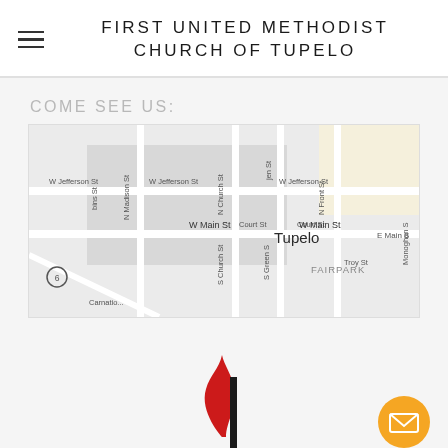FIRST UNITED METHODIST CHURCH OF TUPELO
COME SEE US:
[Figure (map): Street map of downtown Tupelo, MS showing W Jefferson St, W Main St, N Madison St, N Church St, S Church St, S Green St, N Front St, Court St, Troy St, E Main St, Monoghan St, Carnation, FAIRPARK neighborhood, and highway 6 marker.]
[Figure (logo): United Methodist Church cross and flame logo in red and black]
[Figure (other): Orange circular email/contact button with envelope icon]